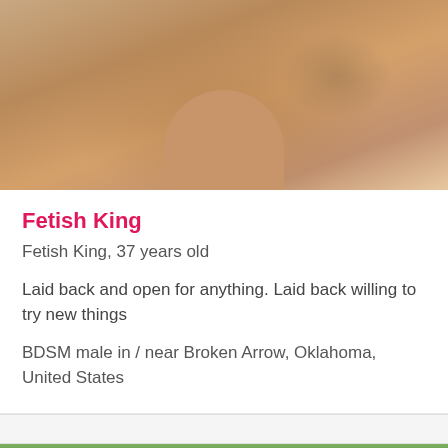[Figure (photo): Shirtless male person, cropped from chest/neck up, warm skin tones, tattoo visible on upper arm/shoulder, beige/tan background]
Fetish King
Fetish King, 37 years old
Laid back and open for anything. Laid back willing to try new things
BDSM male in / near Broken Arrow, Oklahoma, United States
[Figure (photo): Outdoor photo showing green tropical leaves and partial view of person's head, blue sky visible in background]